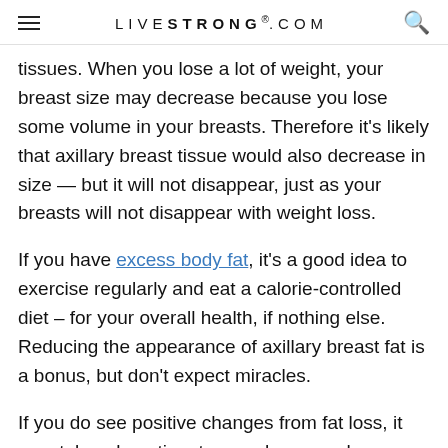LIVESTRONG.COM
tissues. When you lose a lot of weight, your breast size may decrease because you lose some volume in your breasts. Therefore it's likely that axillary breast tissue would also decrease in size — but it will not disappear, just as your breasts will not disappear with weight loss.
If you have excess body fat, it's a good idea to exercise regularly and eat a calorie-controlled diet – for your overall health, if nothing else. Reducing the appearance of axillary breast fat is a bonus, but don't expect miracles.
If you do see positive changes from fat loss, it may take a long time to see changes where you want them. When you lose total body fat, it comes from all over